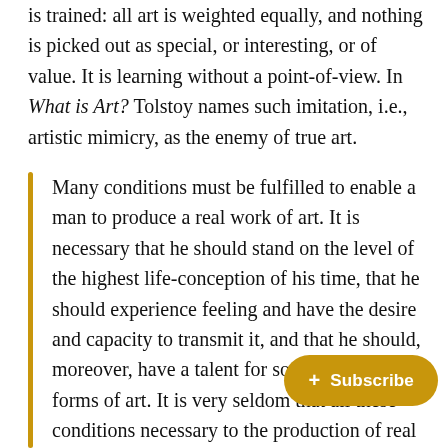is trained: all art is weighted equally, and nothing is picked out as special, or interesting, or of value. It is learning without a point-of-view. In What is Art? Tolstoy names such imitation, i.e., artistic mimicry, as the enemy of true art.
Many conditions must be fulfilled to enable a man to produce a real work of art. It is necessary that he should stand on the level of the highest life-conception of his time, that he should experience feeling and have the desire and capacity to transmit it, and that he should, moreover, have a talent for some one of the forms of art. It is very seldom that all these conditions necessary to the pro… art are combined. But in order— customary methods of borrowing, imitating…